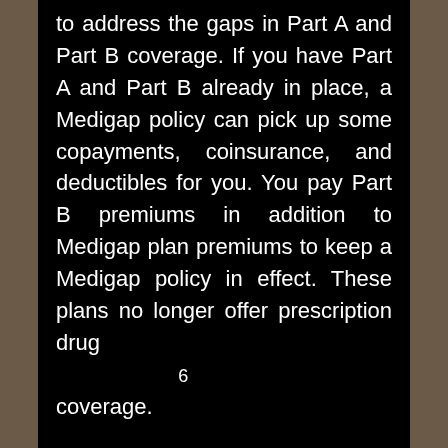to address the gaps in Part A and Part B coverage. If you have Part A and Part B already in place, a Medigap policy can pick up some copayments, coinsurance, and deductibles for you. You pay Part B premiums in addition to Medigap plan premiums to keep a Medigap policy in effect. These plans no longer offer prescription drug coverage.6
Part D: prescription drug plans. While Part C plans commonly offer prescription drug coverage, insurers